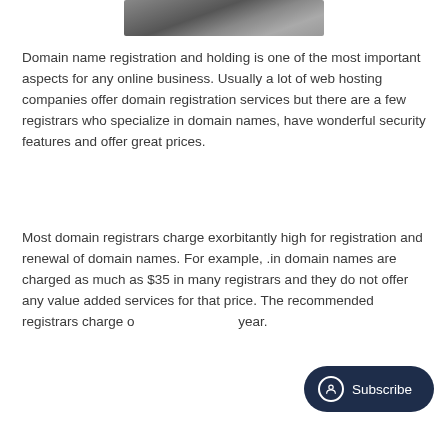[Figure (photo): Partial photo of a device or object shown at the top of the page, cropped]
Domain name registration and holding is one of the most important aspects for any online business. Usually a lot of web hosting companies offer domain registration services but there are a few registrars who specialize in domain names, have wonderful security features and offer great prices.
Most domain registrars charge exorbitantly high for registration and renewal of domain names. For example, .in domain names are charged as much as $35 in many registrars and they do not offer any value added services for that price. The recommended registrars charge o... year.